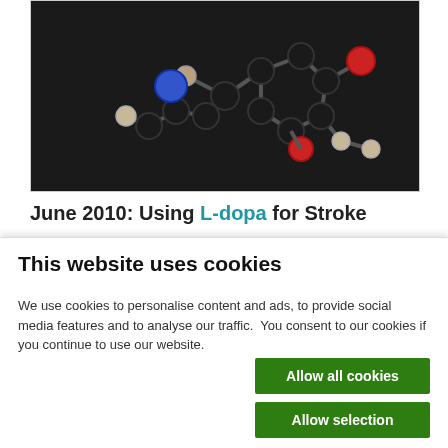[Figure (photo): 3D molecular model of L-dopa showing black carbon atoms, blue nitrogen atom, red oxygen atom, and tan/white hydrogen atoms connected by bonds against a dark background.]
June 2010: Using L-dopa for Stroke
In January of 2010, as I trawled through the Internet, I came across a research paper on a drug called L-dopa. It was already a well-known treatment for Parkinson's disease but it was now being tested for stroke. The researchers' preliminary results looked encouraging, so I printed out the
This website uses cookies
We use cookies to personalise content and ads, to provide social media features and to analyse our traffic.  You consent to our cookies if you continue to use our website.
Allow all cookies
Allow selection